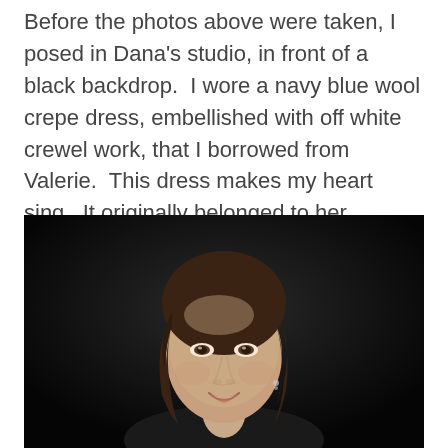Before the photos above were taken, I posed in Dana's studio, in front of a black backdrop.  I wore a navy blue wool crepe dress, embellished with off white crewel work, that I borrowed from Valerie.  This dress makes my heart sing.  It originally belonged to her Russian mother-in-law in the 1940s.
[Figure (photo): Portrait of a woman with shoulder-length brown hair, smiling, against a dark/black studio backdrop. She is wearing a dark top and small earrings.]